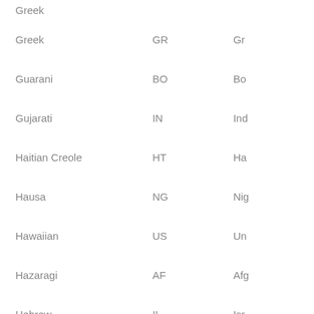| Language | Country Code | Country |
| --- | --- | --- |
| Greek (partial top) |  |  |
| Greek | GR | Gr... |
| Guarani | BO | Bo... |
| Gujarati | IN | Ind... |
| Haitian Creole | HT | Ha... |
| Hausa | NG | Nig... |
| Hawaiian | US | Un... |
| Hazaragi | AF | Afg... |
| Hebrew | IL | Isr... |